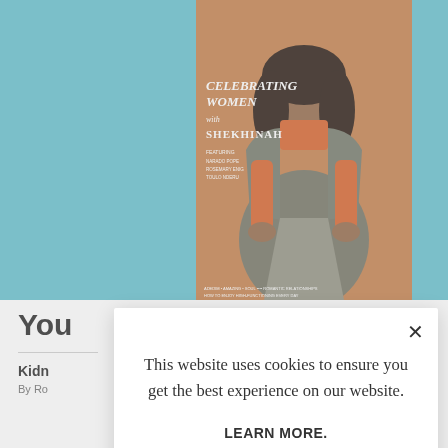[Figure (screenshot): Background of a website showing a magazine cover featuring a woman in orange/red turtleneck and gray coat on a teal background. Text on cover reads 'CELEBRATING WOMEN SHEKHINAH'. Below the magazine cover area, partially visible text 'You' and article title 'Kidn' with 'By Ro' byline.]
This website uses cookies to ensure you get the best experience on our website.
LEARN MORE.
ACCEPT COOKIES